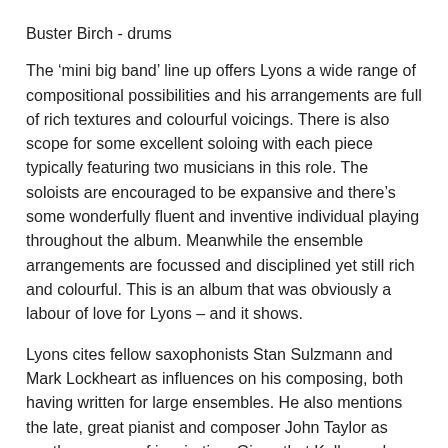Buster Birch - drums
The ‘mini big band’ line up offers Lyons a wide range of compositional possibilities and his arrangements are full of rich textures and colourful voicings. There is also scope for some excellent soloing with each piece typically featuring two musicians in this role. The soloists are encouraged to be expansive and there’s some wonderfully fluent and inventive individual playing throughout the album. Meanwhile the ensemble arrangements are focussed and disciplined yet still rich and colourful. This is an album that was obviously a labour of love for Lyons – and it shows.
Lyons cites fellow saxophonists Stan Sulzmann and Mark Lockheart as influences on his composing, both having written for large ensembles. He also mentions the late, great pianist and composer John Taylor as another source of inspiration. Given that Koller and Williams have both worked extensively with Mike Gibbs I’d be surprised if the veteran Rhodesian composer wasn't also a source of inspiration for Lyons. I certainly fancy that I can hear something of Gibbs’ unique influence in this music.
...